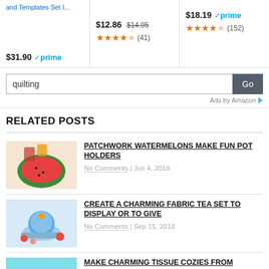[Figure (screenshot): Amazon product strip showing three products with prices, prime badges, and star ratings]
[Figure (screenshot): Amazon search box with 'quilting' query and Go button, with Ads by Amazon attribution]
RELATED POSTS
[Figure (photo): Thumbnail image of patchwork watermelon pot holders]
PATCHWORK WATERMELONS MAKE FUN POT HOLDERS
No Comments | Jun 4, 2018
[Figure (photo): Thumbnail image of fabric tea set]
CREATE A CHARMING FABRIC TEA SET TO DISPLAY OR TO GIVE
No Comments | Sep 15, 2018
[Figure (photo): Thumbnail image of tissue cozies made from scraps]
MAKE CHARMING TISSUE COZIES FROM SCRAPS
No Comments | Jun 1, 2019